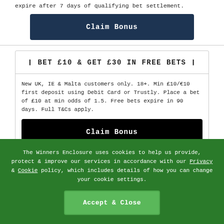expire after 7 days of qualifying bet settlement.
Claim Bonus
❙ BET £10 & GET £30 IN FREE BETS ❙
New UK, IE & Malta customers only. 18+. Min £10/€10 first deposit using Debit Card or Trustly. Place a bet of £10 at min odds of 1.5. Free bets expire in 90 days. Full T&Cs apply.
Claim Bonus
The Winners Enclosure uses cookies to help us provide, protect & improve our services in accordance with our Privacy & Cookie policy, which includes details of how you can change your cookie settings.
Accept & Close